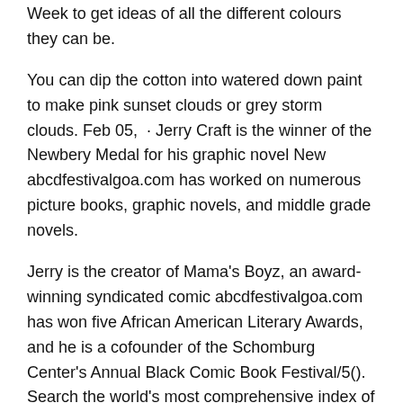Week to get ideas of all the different colours they can be.
You can dip the cotton into watered down paint to make pink sunset clouds or grey storm clouds. Feb 05,  · Jerry Craft is the winner of the Newbery Medal for his graphic novel New abcdfestivalgoa.com has worked on numerous picture books, graphic novels, and middle grade novels.
Jerry is the creator of Mama's Boyz, an award-winning syndicated comic abcdfestivalgoa.com has won five African American Literary Awards, and he is a cofounder of the Schomburg Center's Annual Black Comic Book Festival/5(). Search the world's most comprehensive index of full-text books. My library.
Explore an extensive selection of craft books at Barnes & Noble®. Shop a curated collection of our most popular books about crafts, or browse categories such as jewelry making, knitting, sewing, quilting & textile arts, and woodworking & carving. Shop C&T now for hundreds of creative quilting, sewing & embroidery books, patterns, gifts and products.